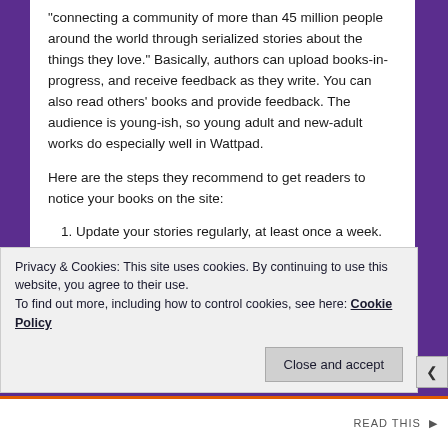“connecting a community of more than 45 million people around the world through serialized stories about the things they love.”  Basically, authors can upload books-in-progress, and receive feedback as they write. You can also read others’ books and provide feedback. The audience is young-ish, so young adult and new-adult works do especially well in Wattpad.
Here are the steps they recommend to get readers to notice your books on the site:
Update your stories regularly, at least once a week.
Make your stories stand out through use of keywords, visuals, and other media.
Privacy & Cookies: This site uses cookies. By continuing to use this website, you agree to their use.
To find out more, including how to control cookies, see here: Cookie Policy
Close and accept